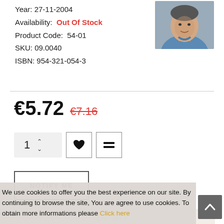Year: 27-11-2004
Availability: Out Of Stock
Product Code: 54-01
SKU: 09.0040
ISBN: 954-321-054-3
[Figure (photo): Author photo: middle-aged man wearing a blue sweater]
€5.72  €7.16 (strikethrough)
[Figure (infographic): Quantity selector showing 1, with up/down arrows; heart icon button; compare icon button]
NOTIFY ME
Delivery
At an office of Econt 4.00 BGN
At personal address - 6.00 BGN
We use cookies to offer you the best experience on our site. By continuing to browse the site, You are agree to use cookies. To obtain more informations please Click here